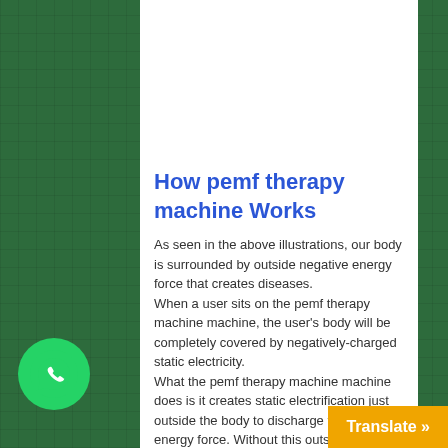How pemf therapy machine Works
As seen in the above illustrations, our body is surrounded by outside negative energy force that creates diseases.
When a user sits on the pemf therapy machine machine, the user's body will be completely covered by negatively-charged static electricity.
What the pemf therapy machine machine does is it creates static electrification just outside the body to discharge the negative energy force. Without this outside negative energy, cancer cells and viruses will die, and you'll be free from dreadful diseases. Since this outside negative energy is what creates cancer, viruses, and other incurable diseases, one of the most important wellness...